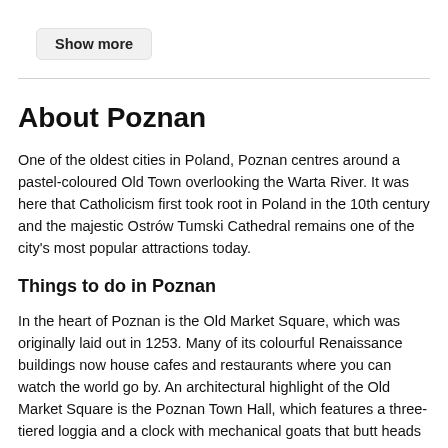Show more
About Poznan
One of the oldest cities in Poland, Poznan centres around a pastel-coloured Old Town overlooking the Warta River. It was here that Catholicism first took root in Poland in the 10th century and the majestic Ostrów Tumski Cathedral remains one of the city's most popular attractions today.
Things to do in Poznan
In the heart of Poznan is the Old Market Square, which was originally laid out in 1253. Many of its colourful Renaissance buildings now house cafes and restaurants where you can watch the world go by. An architectural highlight of the Old Market Square is the Poznan Town Hall, which features a three-tiered loggia and a clock with mechanical goats that butt heads at noon.